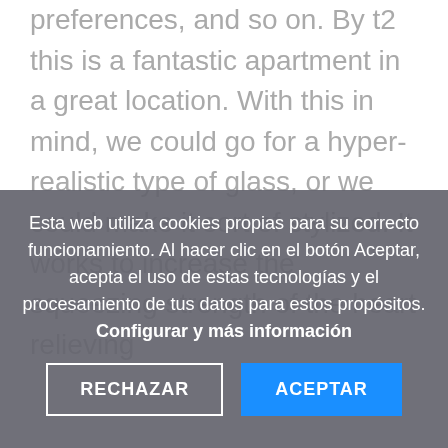preferences, and so on. By t2 this is a fantastic apartment in a great location. With this in mind, we could go for a hyper-realistic type of glass, or we could make it sort of stylized. It works to increase the squeezing strength of the heart relieving
Esta web utiliza cookies propias para su correcto funcionamiento. Al hacer clic en el botón Aceptar, acepta el uso de estas tecnologías y el procesamiento de tus datos para estos propósitos. Configurar y más información
RECHAZAR
ACEPTAR